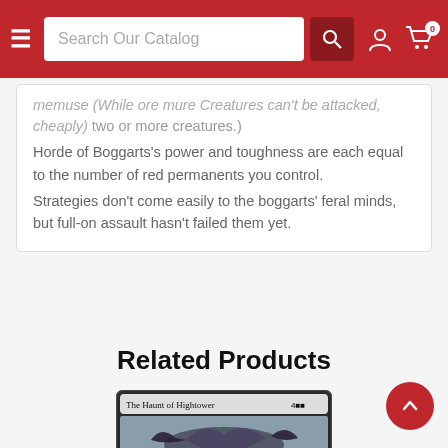Search Our Catalog
memuse (While ore mure Creatures can't be attacked, cheaply) two or more creatures.) Horde of Boggarts's power and toughness are each equal to the number of red permanents you control. Strategies don't come easily to the boggarts' feral minds, but full-on assault hasn't failed them yet.
Related Products
[Figure (photo): Trading card 'The Haunt of Hightower' with mana cost 4BB shown at the bottom of the page]